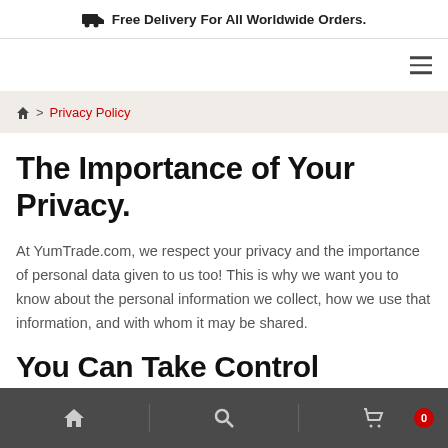🚚 Free Delivery For All Worldwide Orders.
Navigation bar with hamburger menu icon
🏠 > Privacy Policy
The Importance of Your Privacy.
At YumTrade.com, we respect your privacy and the importance of personal data given to us too! This is why we want you to know about the personal information we collect, how we use that information, and with whom it may be shared.
You Can Take Control
Bottom navigation bar with home, search, and cart (0) icons